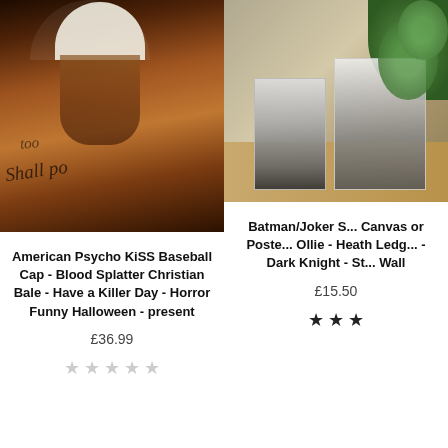[Figure (photo): Person showing back covered in tattoos wearing a white baseball cap]
[Figure (photo): Batman/Joker skateboarding canvas or poster on display in a room with plants]
American Psycho KiSS Baseball Cap - Blood Splatter Christian Bale - Have a Killer Day - Horror Funny Halloween - present
£36.99
Batman/Joker Skateboarding Canvas or Poster - Ollie - Heath Ledger - Dark Knight - Street Wall
£15.50